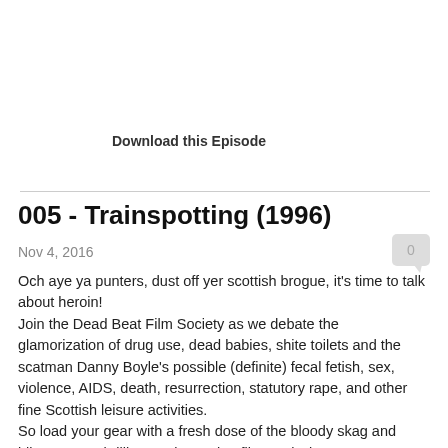Download this Episode
005 - Trainspotting (1996)
Nov 4, 2016
Och aye ya punters, dust off yer scottish brogue, it's time to talk about heroin!
Join the Dead Beat Film Society as we debate the glamorization of drug use, dead babies, shite toilets and the scatman Danny Boyle's possible (definite) fecal fetish, sex, violence, AIDS, death, resurrection, statutory rape, and other fine Scottish leisure activities.
So load your gear with a fresh dose of the bloody skag and bliss out to a brilliant Trainspotting film analysis!
(Special Guest: Sean James)